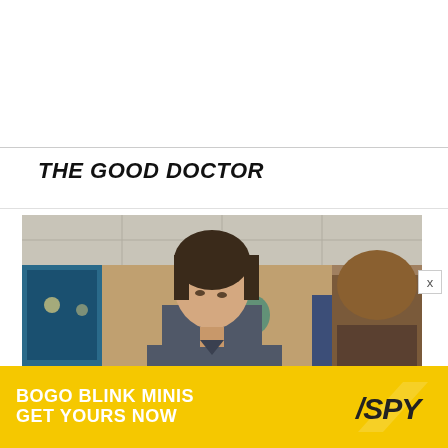THE GOOD DOCTOR
[Figure (photo): Two characters from The Good Doctor TV show in a hospital setting. A young man in scrubs looking down and a woman with highlighted hair facing him.]
[Figure (advertisement): BOGO BLINK MINIS GET YOURS NOW advertisement with SPY logo on yellow background]